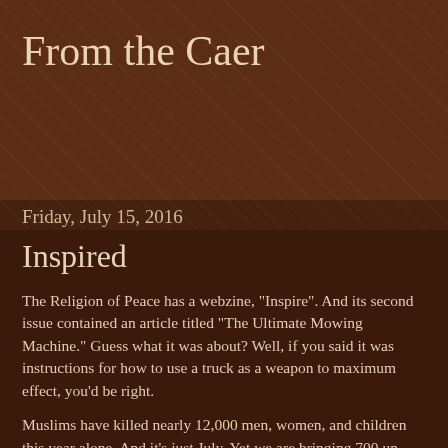From the Caer
Friday, July 15, 2016
Inspired
The Religion of Peace has a webzine, "Inspire". And its second issue contained an article titled "The Ultimate Mowing Machine." Guess what it was about?  Well, if you said it was instructions for how to use a truck as a weapon to maximum effect, you'd be right.
Muslims have killed nearly 12,000 men, women, and children this year alone.  And it's just July.   Yet we are bringing 700 un-vetted muslims into this country every week.
When are people going to give up on the myths of islam?  When are they going to get that no, they do NOT worship the same God that Christians and Jews do, despite islam